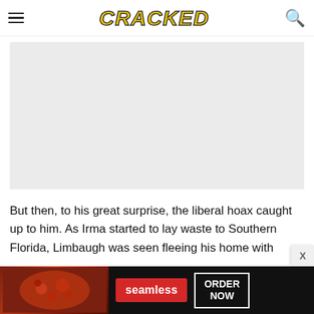CRACKED
[Figure (other): Large grey placeholder image area]
But then, to his great surprise, the liberal hoax caught up to him. As Irma started to lay waste to Southern Florida, Limbaugh was seen fleeing his home with
[Figure (other): Seamless food delivery advertisement banner with pizza image, Seamless logo, and ORDER NOW button]